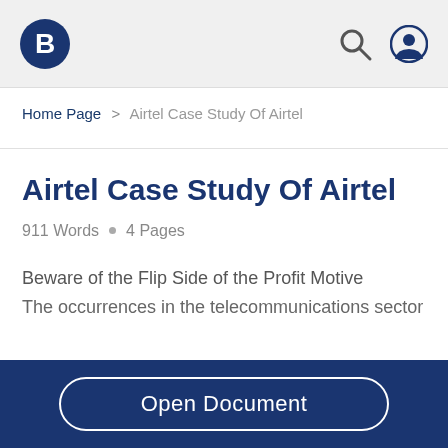Bartleby logo, search icon, user icon
Home Page > Airtel Case Study Of Airtel
Airtel Case Study Of Airtel
911 Words  •  4 Pages
Beware of the Flip Side of the Profit Motive
The occurrences in the telecommunications sector
Open Document